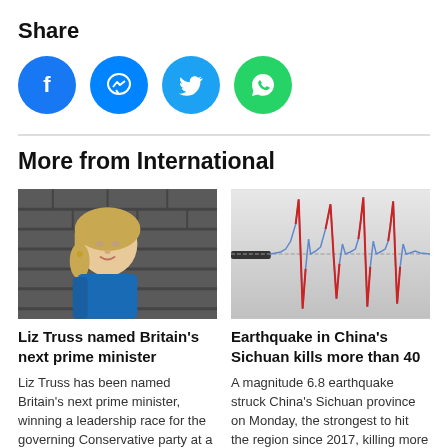Share
[Figure (other): Social media share icons: Facebook, Messenger, Twitter, WhatsApp]
More from International
[Figure (photo): Photo of Liz Truss, a blonde woman in a blue jacket standing in front of a brick wall]
Liz Truss named Britain's next prime minister
Liz Truss has been named Britain's next prime minister, winning a leadership race for the governing Conservative party at a time when the
[Figure (photo): Photo of a seismograph waveform showing earthquake activity, with red and blue lines on a grey background]
Earthquake in China's Sichuan kills more than 40
A magnitude 6.8 earthquake struck China's Sichuan province on Monday, the strongest to hit the region since 2017, killing more than